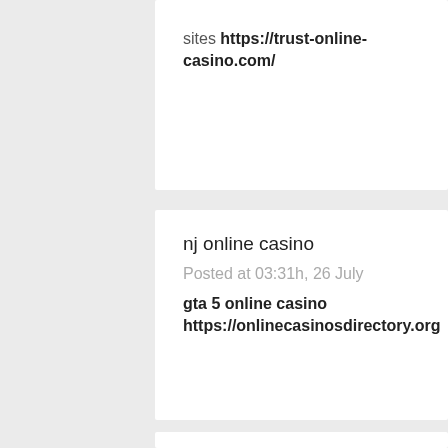sites https://trust-online-casino.com/
nj online casino
Posted at 03:31h, 26 July
gta 5 online casino https://onlinecasinosdirectory.org
lucky creek online casino
Posted at 06:41h, 26 July
casino online gratis